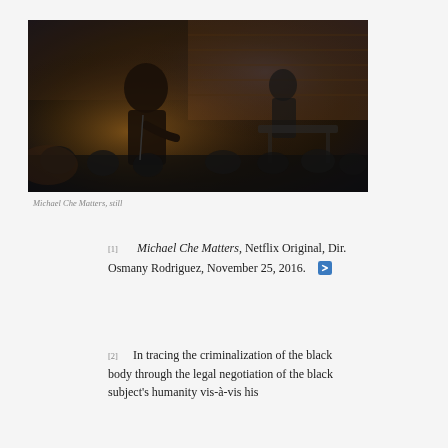[Figure (photo): A comedian performing on a dimly lit stage with brick wall background and audience visible; another figure stands near equipment in the background.]
Michael Che Matters, still
[1]   Michael Che Matters, Netflix Original, Dir. Osmany Rodriguez, November 25, 2016.
[2]   In tracing the criminalization of the black body through the legal negotiation of the black subject's humanity vis-à-vis his